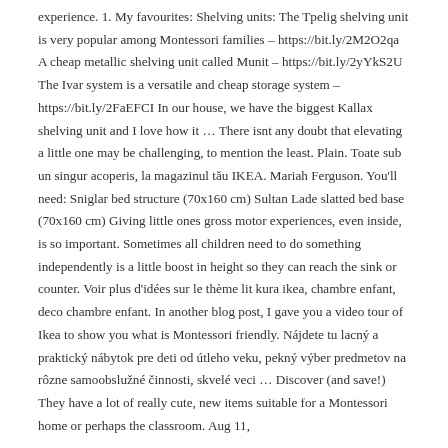experience. 1. My favourites: Shelving units: The Tpelig shelving unit is very popular among Montessori families – https://bit.ly/2M2O2qa A cheap metallic shelving unit called Munit – https://bit.ly/2yYkS2U The Ivar system is a versatile and cheap storage system – https://bit.ly/2FaEFCI In our house, we have the biggest Kallax shelving unit and I love how it … There isnt any doubt that elevating a little one may be challenging, to mention the least. Plain. Toate sub un singur acoperis, la magazinul tău IKEA. Mariah Ferguson. You'll need: Sniglar bed structure (70x160 cm) Sultan Lade slatted bed base (70x160 cm) Giving little ones gross motor experiences, even inside, is so important. Sometimes all children need to do something independently is a little boost in height so they can reach the sink or counter. Voir plus d'idées sur le thème lit kura ikea, chambre enfant, deco chambre enfant. In another blog post, I gave you a video tour of Ikea to show you what is Montessori friendly. Nájdete tu lacný a praktický nábytok pre deti od útleho veku, pekný výber predmetov na rôzne samoobslužné činnosti, skvelé veci … Discover (and save!) They have a lot of really cute, new items suitable for a Montessori home or perhaps the classroom. Aug 11,